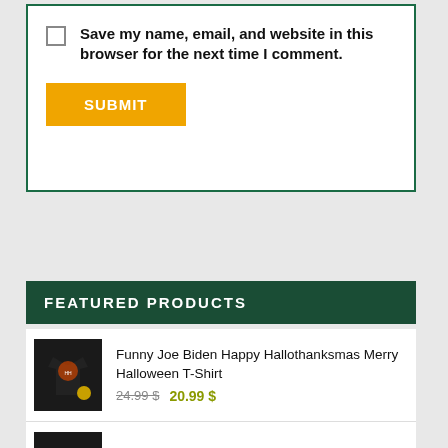Save my name, email, and website in this browser for the next time I comment.
SUBMIT
FEATURED PRODUCTS
Funny Joe Biden Happy Hallothanksmas Merry Halloween T-Shirt 24.99 $ 20.99 $
Funny Nerdy You Matter Then You Energy E=mc^2 T-Shirt